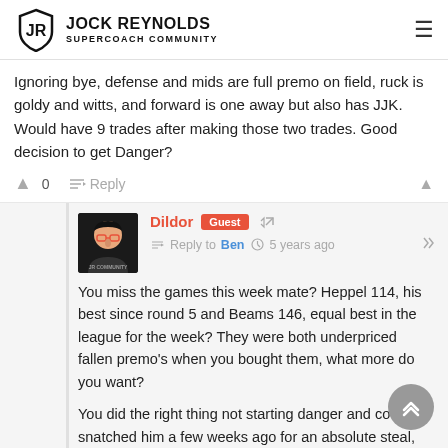[Figure (logo): Jock Reynolds Supercoach Community logo with shield icon]
Ignoring bye, defense and mids are full premo on field, ruck is goldy and witts, and forward is one away but also has JJK. Would have 9 trades after making those two trades. Good decision to get Danger?
0  Reply
Dildor Guest  Reply to Ben  5 years ago
You miss the games this week mate? Heppel 114, his best since round 5 and Beams 146, equal best in the league for the week? They were both underpriced fallen premo's when you bought them, what more do you want?
You did the right thing not starting danger and could h snatched him a few weeks ago for an absolute steal, now